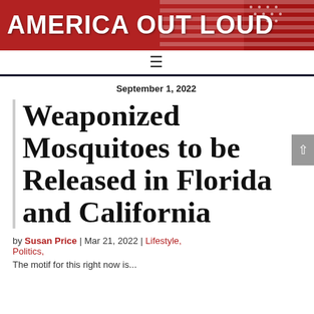AMERICA OUT LOUD
September 1, 2022
Weaponized Mosquitoes to be Released in Florida and California
by Susan Price | Mar 21, 2022 | Lifestyle, Politics,
The motif for this right now is...